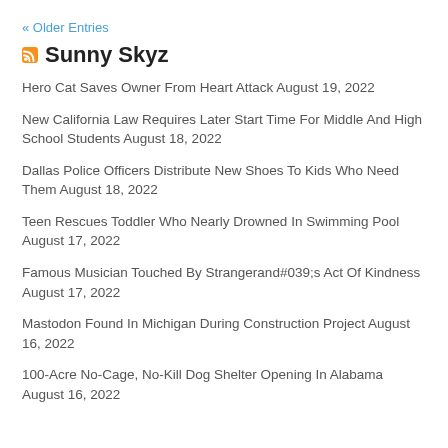« Older Entries
Sunny Skyz
Hero Cat Saves Owner From Heart Attack August 19, 2022
New California Law Requires Later Start Time For Middle And High School Students August 18, 2022
Dallas Police Officers Distribute New Shoes To Kids Who Need Them August 18, 2022
Teen Rescues Toddler Who Nearly Drowned In Swimming Pool August 17, 2022
Famous Musician Touched By Strangerand#039;s Act Of Kindness August 17, 2022
Mastodon Found In Michigan During Construction Project August 16, 2022
100-Acre No-Cage, No-Kill Dog Shelter Opening In Alabama August 16, 2022